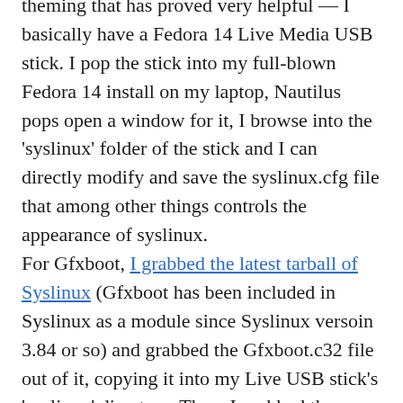theming that has proved very helpful — I basically have a Fedora 14 Live Media USB stick. I pop the stick into my full-blown Fedora 14 install on my laptop, Nautilus pops open a window for it, I browse into the 'syslinux' folder of the stick and I can directly modify and save the syslinux.cfg file that among other things controls the appearance of syslinux. For Gfxboot, I grabbed the latest tarball of Syslinux (Gfxboot has been included in Syslinux as a module since Syslinux versoin 3.84 or so) and grabbed the Gfxboot.c32 file out of it, copying it into my Live USB stick's 'syslinux' directory. Then, I grabbed the Gfxboot RPM from SuSE and cracked it open, baffled at how the SuSE Gfxboot...